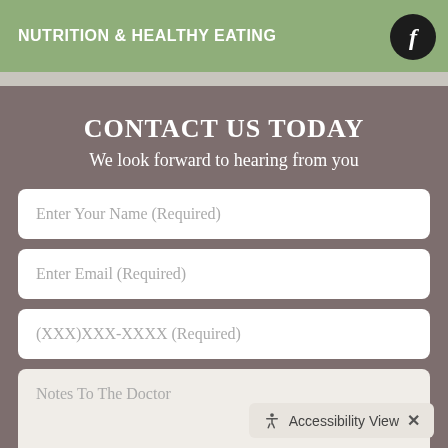NUTRITION & HEALTHY EATING
CONTACT US TODAY
We look forward to hearing from you
Enter Your Name (Required)
Enter Email (Required)
(XXX)XXX-XXXX (Required)
Notes To The Doctor
Accessibility View